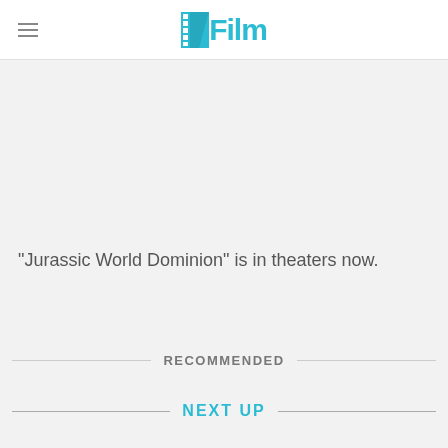/Film
"Jurassic World Dominion" is in theaters now.
RECOMMENDED
NEXT UP